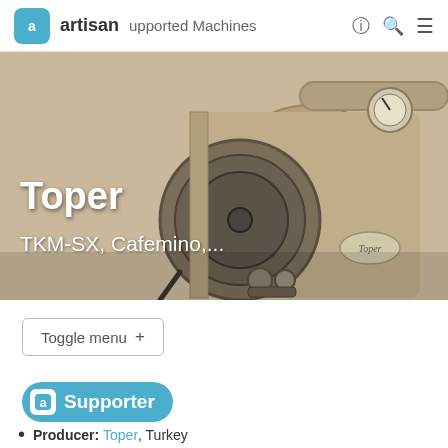artisan  upported Machines
[Figure (photo): Sepia-toned photo of a Toper coffee roasting machine, showing the cylindrical drum, front control panel, valves, and a pressure gauge. A 'Toper' branded medallion is visible on the drum.]
Toper
TKM-SX, Cafemino,...
Toggle menu +
Supporter
Producer: Toper, Turkey